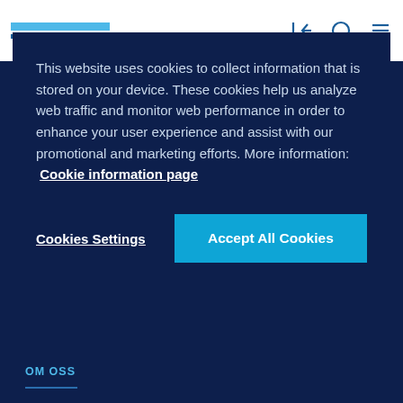[Figure (logo): DNV logo consisting of two horizontal stripes — a cyan/light blue stripe and a dark blue stripe]
This website uses cookies to collect information that is stored on your device. These cookies help us analyze web traffic and monitor web performance in order to enhance your user experience and assist with our promotional and marketing efforts. More information: Cookie information page
Cookies Settings
Accept All Cookies
OM OSS
Om DNV
Syfte, vision & värderingar